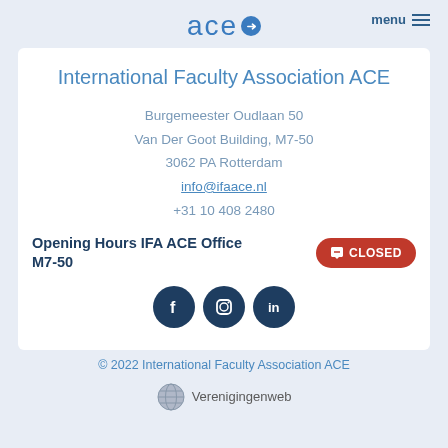ace menu
International Faculty Association ACE
Burgemeester Oudlaan 50
Van Der Goot Building, M7-50
3062 PA Rotterdam
info@ifaace.nl
+31 10 408 2480
Opening Hours IFA ACE Office M7-50 CLOSED
[Figure (other): Social media icons: Facebook, Instagram, LinkedIn in dark navy circles]
© 2022 International Faculty Association ACE
Verenigingenweb